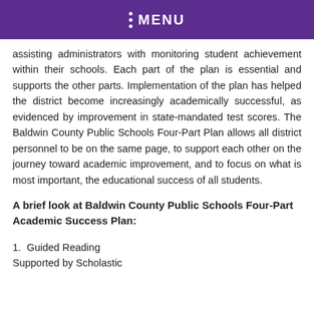MENU
assisting administrators with monitoring student achievement within their schools. Each part of the plan is essential and supports the other parts. Implementation of the plan has helped the district become increasingly academically successful, as evidenced by improvement in state-mandated test scores. The Baldwin County Public Schools Four-Part Plan allows all district personnel to be on the same page, to support each other on the journey toward academic improvement, and to focus on what is most important, the educational success of all students.
A brief look at Baldwin County Public Schools Four-Part Academic Success Plan:
1.  Guided Reading
Supported by Scholastic